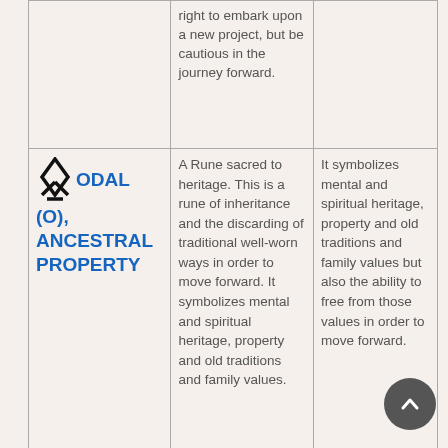| Rune | Description | Symbolism |
| --- | --- | --- |
|  | right to embark upon a new project, but be cautious in the journey forward. |  |
| ODAL (O), ANCESTRAL PROPERTY | A Rune sacred to heritage. This is a rune of inheritance and the discarding of traditional well-worn ways in order to move forward. It symbolizes mental and spiritual heritage, property and old traditions and family values. | It symbolizes mental and spiritual heritage, property and old traditions and family values but also the ability to free from those values in order to move forward. |